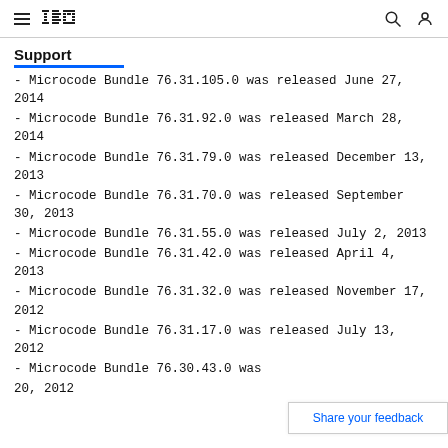IBM Support
Support
- Microcode Bundle 76.31.105.0 was released June 27, 2014
- Microcode Bundle 76.31.92.0 was released March 28, 2014
- Microcode Bundle 76.31.79.0 was released December 13, 2013
- Microcode Bundle 76.31.70.0 was released September 30, 2013
- Microcode Bundle 76.31.55.0 was released July 2, 2013
- Microcode Bundle 76.31.42.0 was released April 4, 2013
- Microcode Bundle 76.31.32.0 was released November 17, 2012
- Microcode Bundle 76.31.17.0 was released July 13, 2012
- Microcode Bundle 76.30.43.0 was [released] 20, 2012